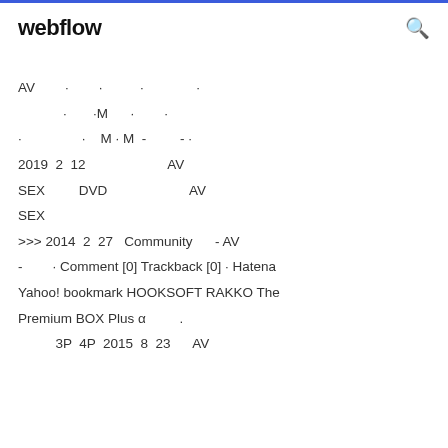webflow
AV　　　·　　　　·　　　　　·　　　　　　·
　　　　·　　·M　　·　　　·
·　　　　　·　M · M　-　　　-·
2019 2 12　　　　　　　AV
SEX　　　DVD　　　　　　AV
SEX
>>> 2014 2 27　Community　　- AV
-　　　· Comment [0] Trackback [0] · Hatena
Yahoo! bookmark HOOKSOFT RAKKO The
Premium BOX Plus α　　　　·
　　3P 4P 2015 8 23　　AV